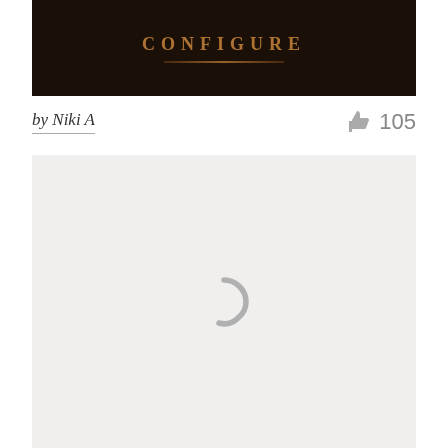[Figure (illustration): Dark book cover with copper/bronze title text and decorative underline on dark brown/black textured background]
by Niki A
105
[Figure (other): Loading spinner icon on light gray background — content area showing a circular loading indicator (horseshoe shape) in gray]